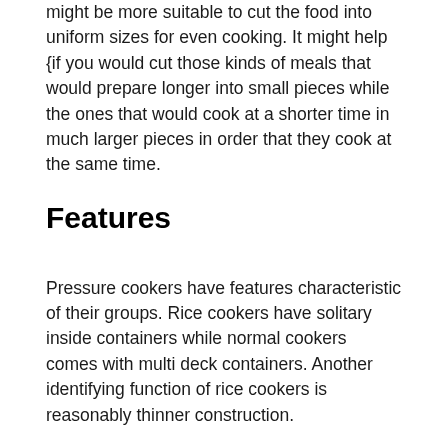might be more suitable to cut the food into uniform sizes for even cooking. It might help {if you would cut those kinds of meals that would prepare longer into small pieces while the ones that would cook at a shorter time in much larger pieces in order that they cook at the same time.
Features
Pressure cookers have features characteristic of their groups. Rice cookers have solitary inside containers while normal cookers comes with multi deck containers. Another identifying function of rice cookers is reasonably thinner construction.
Cookers provide pressurized cooking which helps prepare 30-50% quicker. Cooking under sealed condition, as dictated by high pressures, has double advantages